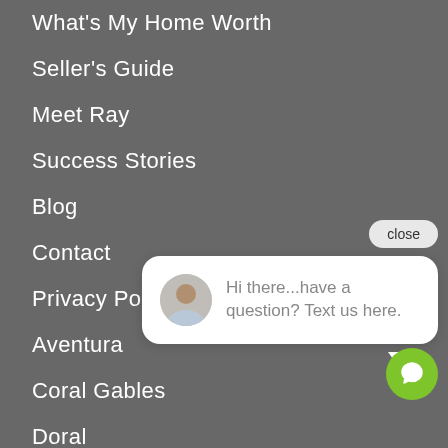What's My Home Worth
Seller's Guide
Meet Ray
Success Stories
Blog
Contact
Privacy Policy
Aventura
Coral Gables
Doral
[Figure (screenshot): Chat widget with close button and speech bubble showing avatar and text 'Hi there...have a question? Text us here.' with a green chat icon button below.]